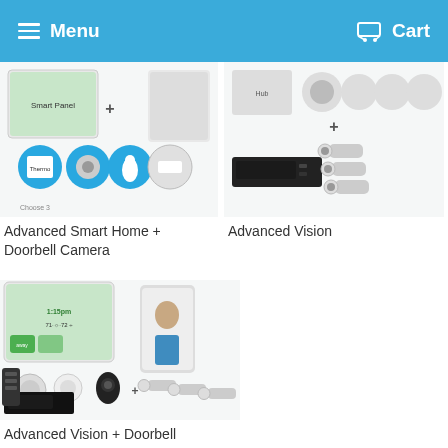Menu   Cart
[Figure (photo): Advanced Smart Home + Doorbell Camera product image showing smart home security devices, thermostat, smart lock, and sensor accessories arranged with plus sign and choose options display]
Advanced Smart Home + Doorbell Camera
[Figure (photo): Advanced Vision product image showing NVR/DVR recorder unit plus three security bullet cameras]
Advanced Vision
[Figure (photo): Advanced Vision + Doorbell product image showing smart home panel with 1:15pm display, smartphone app, security sensors, smoke detector, doorbell camera, NVR recorder and three bullet cameras]
Advanced Vision + Doorbell